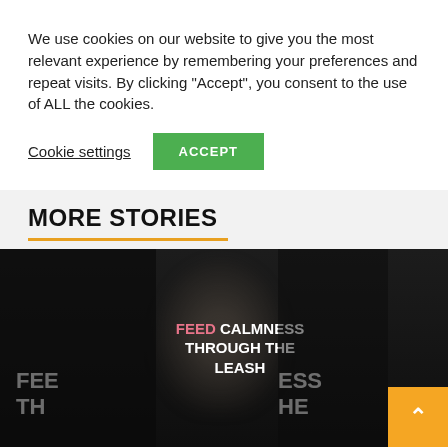We use cookies on our website to give you the most relevant experience by remembering your preferences and repeat visits. By clicking "Accept", you consent to the use of ALL the cookies.
Cookie settings
ACCEPT
MORE STORIES
[Figure (photo): Dark carousel of story cards showing partially visible text 'FEE TH' on left card, center card reading 'FEED CALMNESS THROUGH THE LEASH', and partial 'ESS HE' on right card, with a back-to-top arrow button in orange at bottom right]